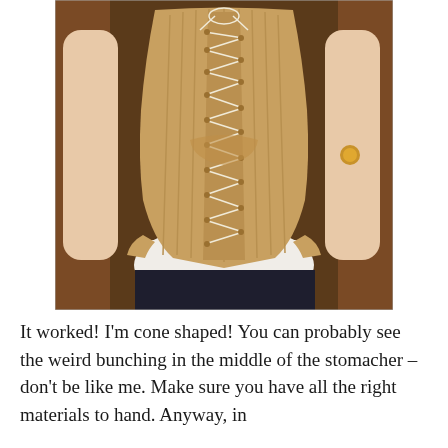[Figure (photo): A person wearing a tan/beige lace-up corset with boning channels, photographed from the back. The corset has a cone or conical shape with a lacing panel in the center back. A white chemise or shirt is visible beneath it, and dark trousers below. The background shows wooden door frames.]
It worked! I'm cone shaped! You can probably see the weird bunching in the middle of the stomacher – don't be like me. Make sure you have all the right materials to hand. Anyway, in